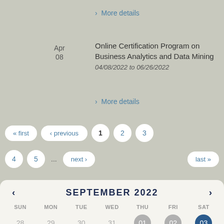> More details
Apr 08 | Online Certification Program on Business Analytics and Data Mining | 04/08/2022 to 06/26/2022
> More details
« first  ‹ previous  1  2  3  4  5  …  next ›  last »
[Figure (other): September 2022 calendar widget with navigation arrows, day headers (SUN MON TUE WED THU FRI SAT), and dates 28-10 shown. Dates 01, 02 highlighted in gray, date 03 highlighted in dark blue.]